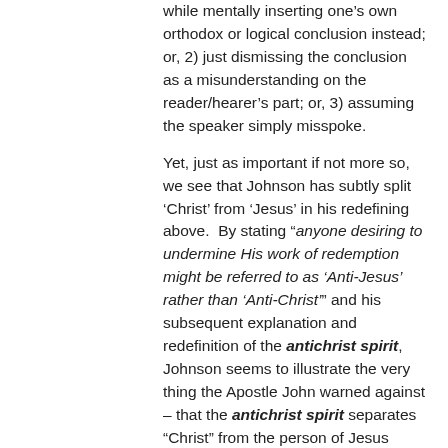while mentally inserting one's own orthodox or logical conclusion instead; or, 2) just dismissing the conclusion as a misunderstanding on the reader/hearer's part; or, 3) assuming the speaker simply misspoke.
Yet, just as important if not more so, we see that Johnson has subtly split 'Christ' from 'Jesus' in his redefining above.  By stating "anyone desiring to undermine His work of redemption might be referred to as 'Anti-Jesus' rather than 'Anti-Christ'" and his subsequent explanation and redefinition of the antichrist spirit, Johnson seems to illustrate the very thing the Apostle John warned against – that the antichrist spirit separates "Christ" from the person of Jesus Christ.  This redefinition itself could be construed as antichrist in nature.  This may be confusing, but please read on.
Johnson Redefines “Christ”
This same methodology above is in evidence in